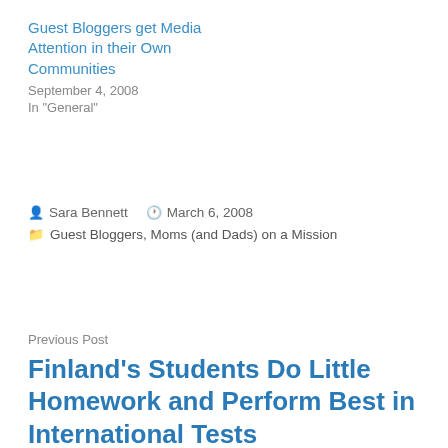Guest Bloggers get Media Attention in their Own Communities
September 4, 2008
In "General"
Sara Bennett   March 6, 2008
Guest Bloggers, Moms (and Dads) on a Mission
Previous Post
Finland's Students Do Little Homework and Perform Best in International Tests